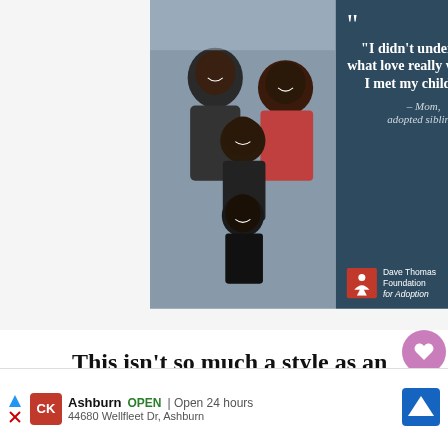[Figure (photo): Advertisement banner: Dave Thomas Foundation for Adoption. Left half shows a photo of a smiling Black family (man, woman, two girls). Right half has dark blue/teal background with large quote: '"I didn't understand what love really was until I met my children." – Mom, adopted siblings' and the Dave Thomas Foundation for Adoption logo with red square icon.]
This isn't so much a style as an accessory
[Figure (infographic): Bottom advertisement bar showing: navigation arrows, CK logo, Ashburn OPEN | Open 24 hours, 44680 Wellfleet Dr, Ashburn, with a blue navigation/map icon on the right.]